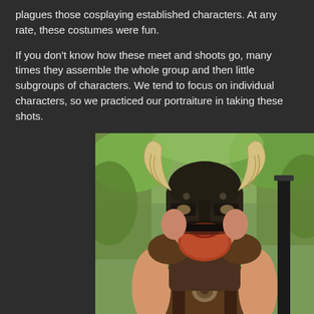plagues those cosplaying established characters. At any rate, these costumes were fun.
If you don't know how these meet and shoots go, many times they assemble the whole group and then little subgroups of characters. We tend to focus on individual characters, so we practiced our portraiture in taking these shots.
[Figure (photo): A person in a Skyrim Dragonborn cosplay costume, wearing a dark horned helmet with curved horns, leather armor with a chest harness, and a red beard, photographed outdoors with green trees in the background.]